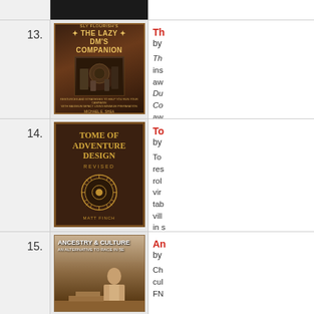13.
[Figure (photo): Book cover: Sly Flourish's The Lazy DM's Companion - dark fantasy art with armored figures]
The Lazy DM's Companion by [author]

The [description] ins... aw... Du... Co... aw... exp...
14.
[Figure (photo): Book cover: Tome of Adventure Design Revised by Matt Finch - dark brown cover with gold ornate sun/wheel design]
Tome of Adventure Design by [author]

To... res... rol... vir... tab... vil... in s...
15.
[Figure (photo): Book cover: Ancestry & Culture: An Alternative to Race in 5e - features a robed figure in ancient setting]
Ancestry & Culture by [author]

Ch... cul... FN...